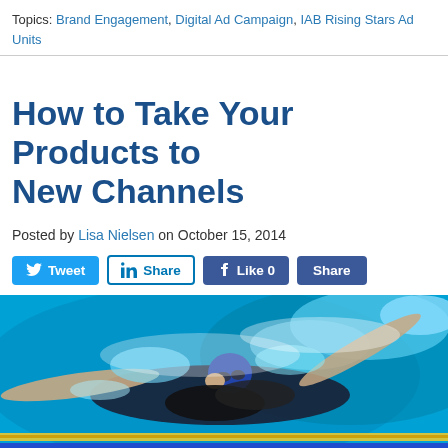Topics: Brand Engagement, Digital Ad Campaign, IAB Rising Stars Ad Units
How to Take Your Products to New Channels
Posted by Lisa Nielsen on October 15, 2014
[Figure (other): Social sharing buttons: Tweet, Share (LinkedIn), Like 0 (Facebook), Share]
[Figure (photo): A female swimmer doing butterfly stroke in a pool, wearing goggles and a dark swimsuit, with colorful lane dividers visible]